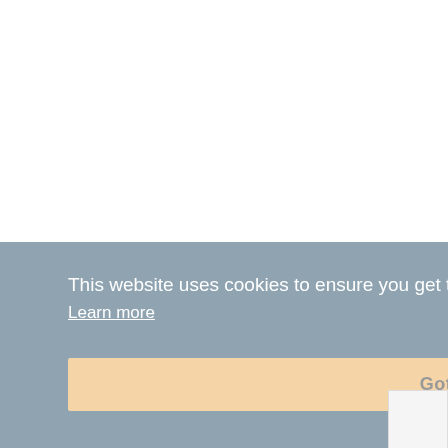[Figure (other): Loading spinner — a circle with a partial dark arc indicating a loading state, positioned at center-top of the cookie banner overlay]
This website uses cookies to ensure you get the best experience on our website.
Learn more
Got it!